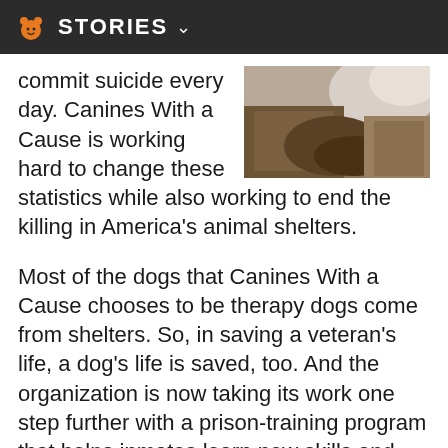STORIES
[Figure (photo): Close-up photo of a dog resting, showing fur and what appears to be bedding or blanket]
commit suicide every day. Canines With a Cause is working hard to change these statistics while also working to end the killing in America's animal shelters.
Most of the dogs that Canines With a Cause chooses to be therapy dogs come from shelters. So, in saving a veteran's life, a dog's life is saved, too. And the organization is now taking its work one step further with a prison-training program that helps inmates learn new skills and give back to the community by training dogs for vets.
Cathy King, executive director of Canines